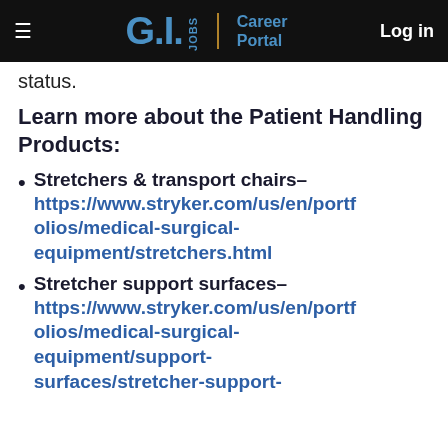G.I. JOBS | Career Portal  Log in
status.
Learn more about the Patient Handling Products:
Stretchers & transport chairs– https://www.stryker.com/us/en/portfolios/medical-surgical-equipment/stretchers.html
Stretcher support surfaces– https://www.stryker.com/us/en/portfolios/medical-surgical-equipment/support-surfaces/stretcher-support-